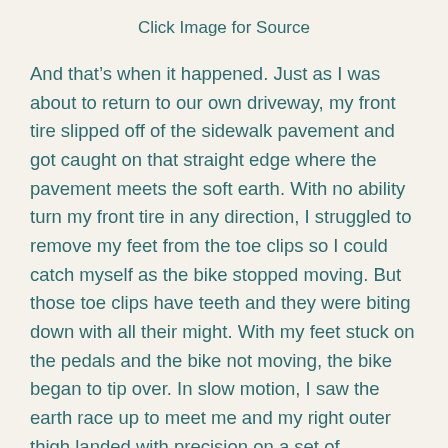Click Image for Source
And that’s when it happened. Just as I was about to return to our own driveway, my front tire slipped off of the sidewalk pavement and got caught on that straight edge where the pavement meets the soft earth. With no ability turn my front tire in any direction, I struggled to remove my feet from the toe clips so I could catch myself as the bike stopped moving. But those toe clips have teeth and they were biting down with all their might. With my feet stuck on the pedals and the bike not moving, the bike began to tip over. In slow motion, I saw the earth race up to meet me and my right outer thigh landed with precision on a set of